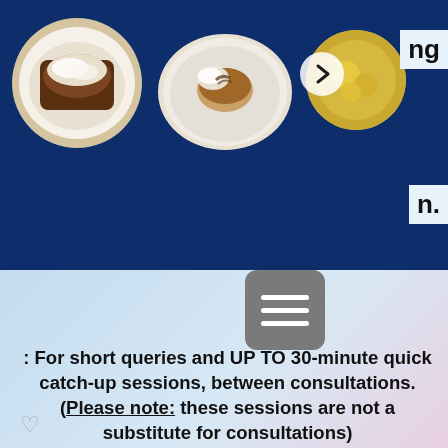[Figure (photo): Dark blue banner with two food photos (dishes on white plates) and a partial third circle image with arrow, set on a website background.]
ng
n.
[Figure (other): Hamburger menu button (three horizontal white lines on grey rounded square background)]
: For short queries and UP TO 30-minute quick catch-up sessions, between consultations. (Please note: these sessions are not a substitute for consultations)
Basically, you choose a block of minutes. and when these minutes are used up you purchase a new block. Plan A has the most minutes in the block, and carries the highest discount